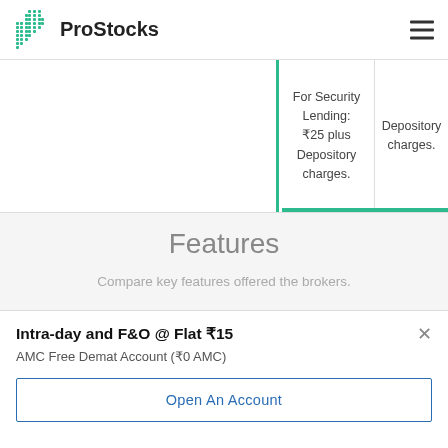ProStocks
|  | For Security Lending: ₹25 plus Depository charges. | Depository charges. |
Features
Compare key features offered the brokers.
Intra-day and F&O @ Flat ₹15
AMC Free Demat Account (₹0 AMC)
Open An Account